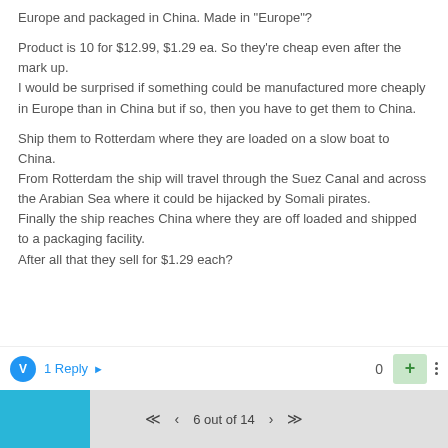Europe and packaged in China. Made in "Europe"?

Product is 10 for $12.99, $1.29 ea. So they're cheap even after the mark up.
I would be surprised if something could be manufactured more cheaply in Europe than in China but if so, then you have to get them to China.

Ship them to Rotterdam where they are loaded on a slow boat to China.
From Rotterdam the ship will travel through the Suez Canal and across the Arabian Sea where it could be hijacked by Somali pirates.
Finally the ship reaches China where they are off loaded and shipped to a packaging facility.
After all that they sell for $1.29 each?
1 Reply  0
6 out of 14